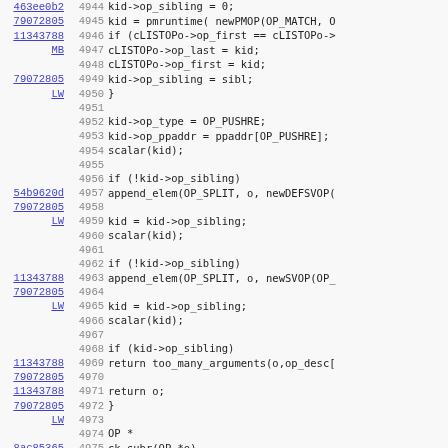[Figure (screenshot): Source code listing showing lines 4944-4975 of a C/Perl source file with line numbers, commit hashes as hyperlinks, and code content including kid->op_sibling, pmruntime, cLISTOPo, OP_PUSHRE, scalar, append_elem, OP_SPLIT, newDEFSVOP, newSVOP, too_many_arguments, return o, OP *, ck_subr function definition.]